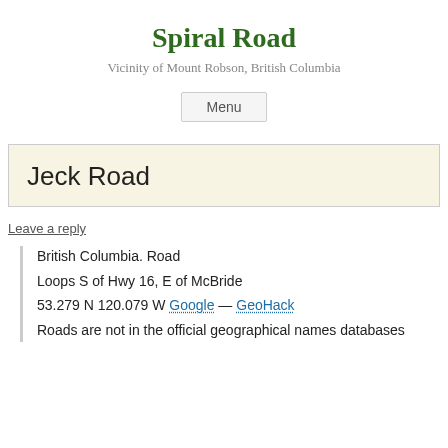Spiral Road
Vicinity of Mount Robson, British Columbia
Menu
Jeck Road
Leave a reply
British Columbia. Road
Loops S of Hwy 16, E of McBride
53.279 N 120.079 W Google — GeoHack
Roads are not in the official geographical names databases